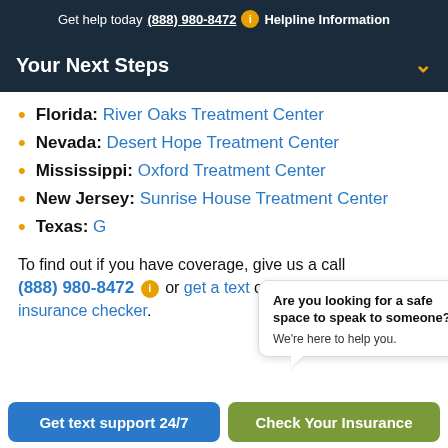Get help today (888) 980-8472 ℹ Helpline Information
Your Next Steps
Florida: River Oaks Treatment Center
Nevada: Desert Hope Treatment Center
Mississippi: Oxford Treatment Center
New Jersey: Sunrise House Treatment Center
Texas: G...
[Figure (illustration): Chat popup with avatar of a woman with brown hair and glasses, message: Are you looking for a safe space to speak to someone? We're here to help you.]
To find out if you have coverage, give us a call (888) 980-8472 ℹ or get a text or use our online insurance checker.
Get text support 24/7 | Check Your Insurance